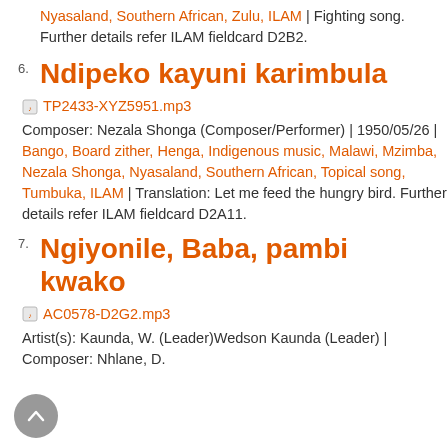Nyasaland, Southern African, Zulu, ILAM | Fighting song. Further details refer ILAM fieldcard D2B2.
6. Ndipeko kayuni karimbula
TP2433-XYZ5951.mp3
Composer: Nezala Shonga (Composer/Performer) | 1950/05/26 | Bango, Board zither, Henga, Indigenous music, Malawi, Mzimba, Nezala Shonga, Nyasaland, Southern African, Topical song, Tumbuka, ILAM | Translation: Let me feed the hungry bird. Further details refer ILAM fieldcard D2A11.
7. Ngiyonile, Baba, pambi kwako
AC0578-D2G2.mp3
Artist(s): Kaunda, W. (Leader)Wedson Kaunda (Leader) | Composer: Nhlane, D.